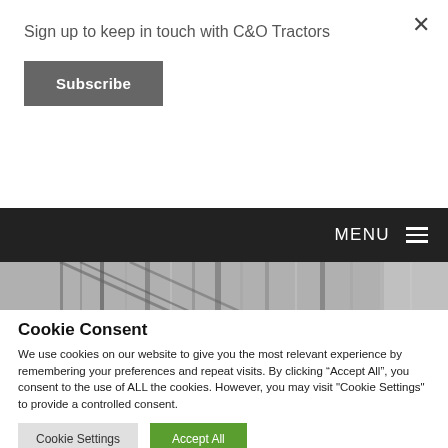×
Sign up to keep in touch with C&O Tractors
Subscribe
MENU ≡
[Figure (photo): Architectural/industrial image showing diagonal lines and metallic structures in black and white]
Cookie Consent
We use cookies on our website to give you the most relevant experience by remembering your preferences and repeat visits. By clicking "Accept All", you consent to the use of ALL the cookies. However, you may visit "Cookie Settings" to provide a controlled consent.
Cookie Settings
Accept All